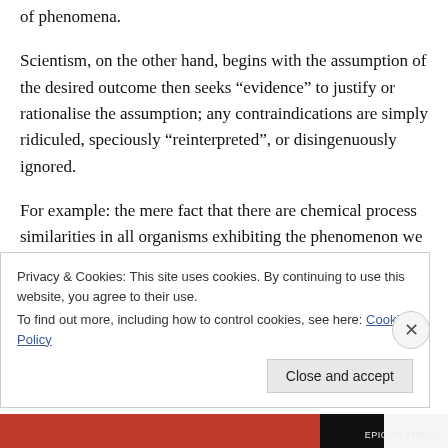of phenomena.
Scientism, on the other hand, begins with the assumption of the desired outcome then seeks “evidence” to justify or rationalise the assumption; any contraindications are simply ridiculed, speciously “reinterpreted”, or disingenuously ignored.
For example: the mere fact that there are chemical process similarities in all organisms exhibiting the phenomenon we call life is
Privacy & Cookies: This site uses cookies. By continuing to use this website, you agree to their use.
To find out more, including how to control cookies, see here: Cookie Policy